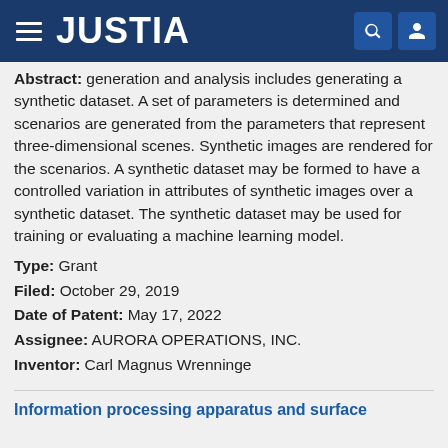JUSTIA
Abstract: A method and system for synthetic data generation and analysis includes generating a synthetic dataset. A set of parameters is determined and scenarios are generated from the parameters that represent three-dimensional scenes. Synthetic images are rendered for the scenarios. A synthetic dataset may be formed to have a controlled variation in attributes of synthetic images over a synthetic dataset. The synthetic dataset may be used for training or evaluating a machine learning model.
Type: Grant
Filed: October 29, 2019
Date of Patent: May 17, 2022
Assignee: AURORA OPERATIONS, INC.
Inventor: Carl Magnus Wrenninge
Information processing apparatus and surface